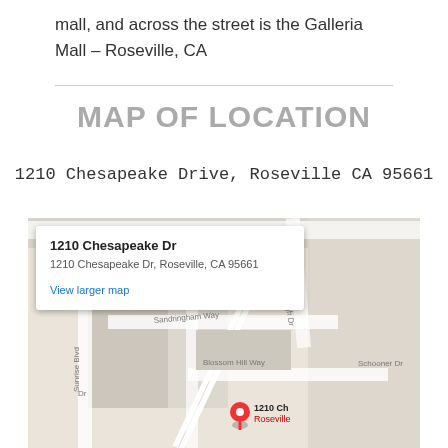mall, and across the street is the Galleria Mall – Roseville, CA
MAP OF LOCATION
1210 Chesapeake Drive, Roseville CA 95661
[Figure (map): Google Maps screenshot showing 1210 Chesapeake Dr, Roseville, CA 95661 with an info popup displaying the address and a 'View larger map' link. A red location pin marks the address. Streets visible include Sandringham Way, Blossom Hill Way, Schooner Dr, and Sunrise Blvd.]